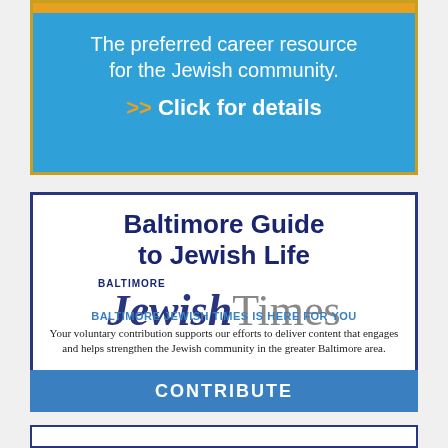[Figure (infographic): Blue advertisement banner with orange top bar. Text reads: The preferred career resource for the Jewish community. >> Click for details]
[Figure (infographic): Baltimore Guide to Jewish Life advertisement featuring Baltimore Jewish Times logo]
BALTIMORE JEWISH TIMES IS HERE FOR YOU
Your voluntary contribution supports our efforts to deliver content that engages and helps strengthen the Jewish community in the greater Baltimore area.
CONTRIBUTE
[Figure (infographic): Third advertisement block, partially visible at the bottom of the page]